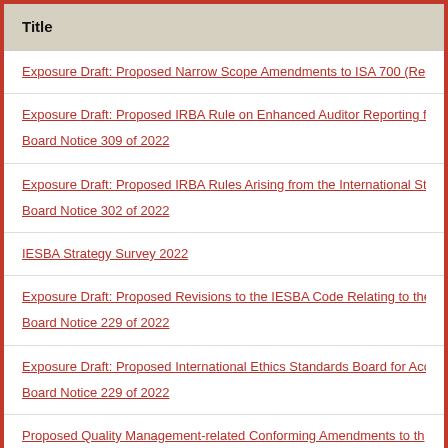| Title |
| --- |
| Exposure Draft: Proposed Narrow Scope Amendments to ISA 700 (Re... |
| Exposure Draft: Proposed IRBA Rule on Enhanced Auditor Reporting fo...
Board Notice 309 of 2022 |
| Exposure Draft: Proposed IRBA Rules Arising from the International St...
Board Notice 302 of 2022 |
| IESBA Strategy Survey 2022 |
| Exposure Draft: Proposed Revisions to the IESBA Code Relating to the...
Board Notice 229 of 2022 |
| Exposure Draft: Proposed International Ethics Standards Board for Acc...
Board Notice 229 of 2022 |
| Proposed Quality Management-related Conforming Amendments to th... |